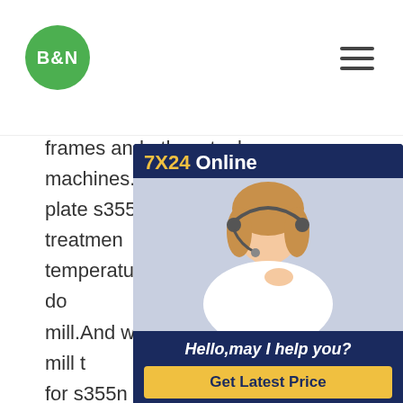[Figure (logo): B&N logo: green circle with white bold text 'B&N']
[Figure (infographic): 7X24 Online customer service widget with photo of woman with headset, 'Hello, may I help you?' text, and 'Get Latest Price' button]
frames and other steel machines.When plate s355nl,normalized heat treatment temperature impacting test shall be done at mill.And when issued the original mill test for s355n steel plate,the Normalized with impacting test s355nl bbeams steel plate S355NL (1.0546) Buying Lead from India Plate/Sheet/StripInformation for steel Suppliers Buying Requirement, Buying Lead for S355NL (1.0546) Time Country India Sity COIMBATORE E-mail ARSHAD@QQSWORLD.COM Per ARSHAD S355NL (1.0546) Quantity 200 MT Shape